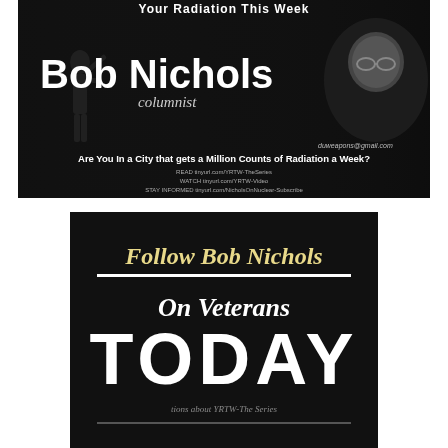[Figure (illustration): Black banner header for Bob Nichols columnist promoting 'Your Radiation This Week'. Shows silhouette of soldier saluting, American flag background, face photo of Bob Nichols with glasses. Text: 'Bob Nichols columnist', 'Are You In a City that gets a Million Counts of Radiation a Week?', links to tinyurl.com resources, duweapons@gmail.com.]
[Figure (illustration): Black promotional banner: 'Follow Bob Nichols On Veterans TODAY' with gold/white text and horizontal divider line, and partial bottom text referencing YRTW series.]